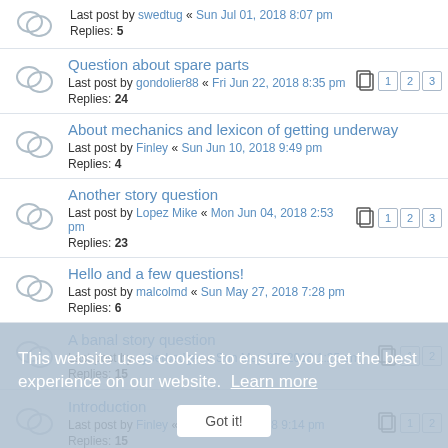Last post by swedtug « Sun Jul 01, 2018 8:07 pm
Replies: 5
Question about spare parts
Last post by gondolier88 « Fri Jun 22, 2018 8:35 pm
Replies: 24
Pages: 1 2 3
About mechanics and lexicon of getting underway
Last post by Finley « Sun Jun 10, 2018 9:49 pm
Replies: 4
Another story question
Last post by Lopez Mike « Mon Jun 04, 2018 2:53 pm
Replies: 23
Pages: 1 2 3
Hello and a few questions!
Last post by malcolmd « Sun May 27, 2018 7:28 pm
Replies: 6
A banal story question
Last post by cyberbadger « Sun May 27, 2018 1:25 am
Replies: 15
Pages: 1 2
Introduction
Last post by Finley « Thu May 17, 2018 9:14 pm
Replies: 15
Pages: 1 2
This website uses cookies to ensure you get the best experience on our website. Learn more
Got it!